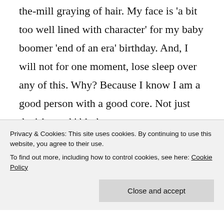average height and weight, run-of-the-mill graying of hair. My face is 'a bit too well lined with character' for my baby boomer 'end of an era' birthday. And, I will not for one moment, lose sleep over any of this. Why? Because I know I am a good person with a good core. Not just the 'six-pack' kind.
I do not fuss with my hair or even
Privacy & Cookies: This site uses cookies. By continuing to use this website, you agree to their use.
To find out more, including how to control cookies, see here: Cookie Policy